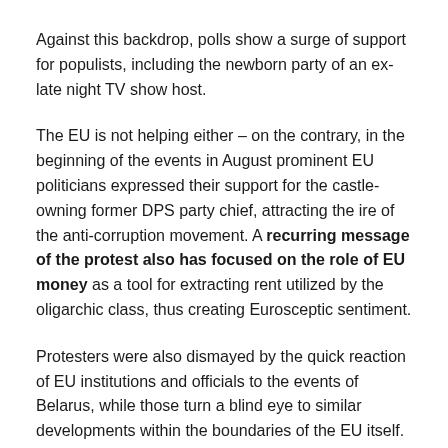Against this backdrop, polls show a surge of support for populists, including the newborn party of an ex- late night TV show host.
The EU is not helping either – on the contrary, in the beginning of the events in August prominent EU politicians expressed their support for the castle-owning former DPS party chief, attracting the ire of the anti-corruption movement. A recurring message of the protest also has focused on the role of EU money as a tool for extracting rent utilized by the oligarchic class, thus creating Eurosceptic sentiment.
Protesters were also dismayed by the quick reaction of EU institutions and officials to the events of Belarus, while those turn a blind eye to similar developments within the boundaries of the EU itself.
Where will the events go from here? It is pretty hard to say. It